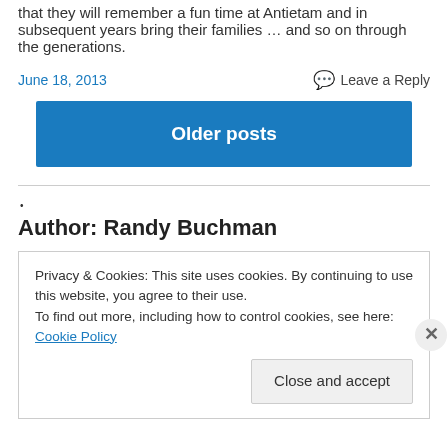that they will remember a fun time at Antietam and in subsequent years bring their families … and so on through the generations.
June 18, 2013
Leave a Reply
Older posts
•
Author: Randy Buchman
Privacy & Cookies: This site uses cookies. By continuing to use this website, you agree to their use.
To find out more, including how to control cookies, see here: Cookie Policy
Close and accept